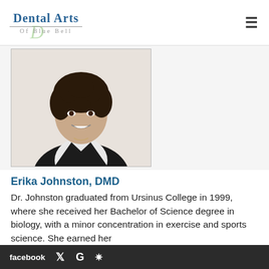Dental Arts Of Blue Bell
[Figure (photo): Professional headshot of Dr. Erika Johnston, a woman with curly dark hair, wearing a black blazer over a white top, smiling at camera against a white background.]
Erika Johnston, DMD
Dr. Johnston graduated from Ursinus College in 1999, where she received her Bachelor of Science degree in biology, with a minor concentration in exercise and sports science. She earned her
facebook  𝕏  G  yelp